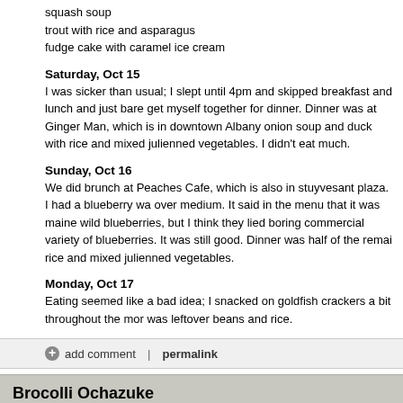squash soup
trout with rice and asparagus
fudge cake with caramel ice cream
Saturday, Oct 15
I was sicker than usual; I slept until 4pm and skipped breakfast and lunch and just bare get myself together for dinner. Dinner was at Ginger Man, which is in downtown Albany onion soup and duck with rice and mixed julienned vegetables. I didn't eat much.
Sunday, Oct 16
We did brunch at Peaches Cafe, which is also in stuyvesant plaza. I had a blueberry wa over medium. It said in the menu that it was maine wild blueberries, but I think they lied boring commercial variety of blueberries. It was still good. Dinner was half of the remai rice and mixed julienned vegetables.
Monday, Oct 17
Eating seemed like a bad idea; I snacked on goldfish crackers a bit throughout the mor was leftover beans and rice.
add comment  |  permalink
Brocolli Ochazuke
Tuesday, October 11, 2005, 05:37 PM - comfort food, breakfast
menu
For breakfast we had frozen berries with grapenuts, lunch was more cold pizza; and dir ochazuke.
recipes